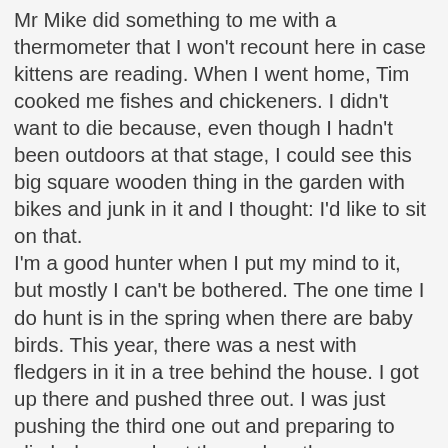Mr Mike did something to me with a thermometer that I won't recount here in case kittens are reading. When I went home, Tim cooked me fishes and chickeners. I didn't want to die because, even though I hadn't been outdoors at that stage, I could see this big square wooden thing in the garden with bikes and junk in it and I thought: I'd like to sit on that. I'm a good hunter when I put my mind to it, but mostly I can't be bothered. The one time I do hunt is in the spring when there are baby birds. This year, there was a nest with fledgers in it in a tree behind the house. I got up there and pushed three out. I was just pushing the third one out and preparing to climb down and eat them when the neighbours appeared. Tim also came out of the house, looking embarrassed. They suggested he take the fledgers to a local animal rescue centre. He did (reluctantly, I sensed) where they made him give a £5 donation, which he wasn't happy about. The next day I went back up the tree and pushed the last fledger out and the neighbours called Tim and he had to do the same again. Cost him another £5. Humans never learn. It also make me realise how confusing life can be, though. I mean, owners say you shouldn't lie, yet Tim claimed he "found the birds in a park after someone's cat had caught...